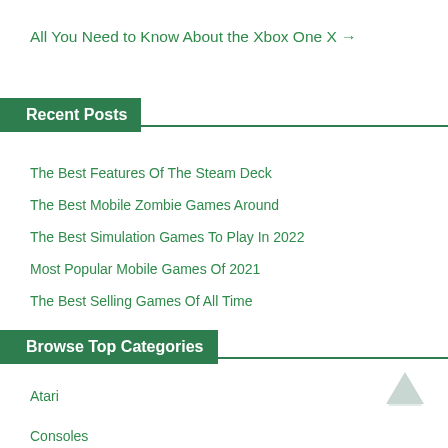All You Need to Know About the Xbox One X →
Recent Posts
The Best Features Of The Steam Deck
The Best Mobile Zombie Games Around
The Best Simulation Games To Play In 2022
Most Popular Mobile Games Of 2021
The Best Selling Games Of All Time
Browse Top Categories
Atari
Consoles